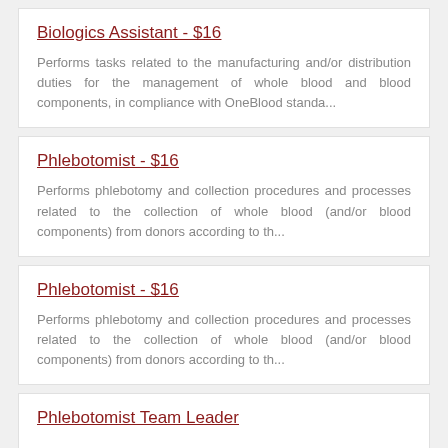Biologics Assistant - $16
Performs tasks related to the manufacturing and/or distribution duties for the management of whole blood and blood components, in compliance with OneBlood standa...
Phlebotomist - $16
Performs phlebotomy and collection procedures and processes related to the collection of whole blood (and/or blood components) from donors according to th...
Phlebotomist - $16
Performs phlebotomy and collection procedures and processes related to the collection of whole blood (and/or blood components) from donors according to th...
Phlebotomist Team Leader